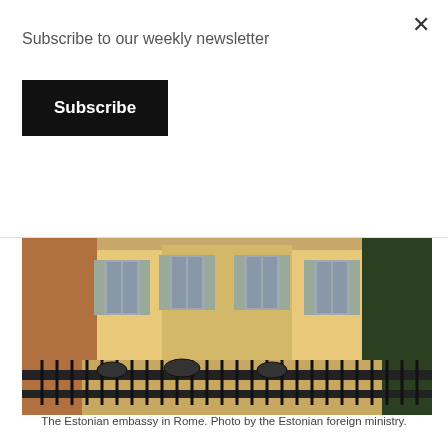Subscribe to our weekly newsletter
Subscribe
[Figure (photo): The Estonian embassy in Rome — a yellow building with grey shuttered windows and an ornate black iron fence in front. Trees visible on the right side.]
The Estonian embassy in Rome. Photo by the Estonian foreign ministry.
Estonia and Italy enjoy strong defence relations with Italy having participated in the Baltic air-policing mission and being one of the founding members of the NATO Cyber Defence Centre that's based in Tallinn. Italy and Estonia also have a defence cooperation agreement that became effective in 2001. Estonians and Italians have served together in a peacekeeping mission in Kosovo.